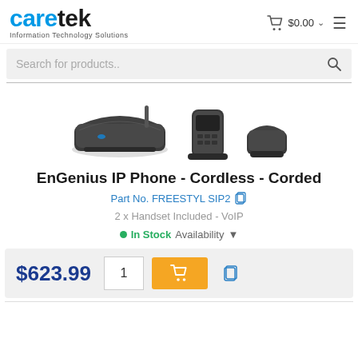caretek Information Technology Solutions
Search for products..
[Figure (photo): Three product images of EnGenius IP Phone FREESTYL SIP2 cordless/corded device shown from different angles]
EnGenius IP Phone - Cordless - Corded
Part No. FREESTYL SIP2
2 x Handset Included - VoIP
In Stock Availability
$623.99  1  [add to cart]  [copy]